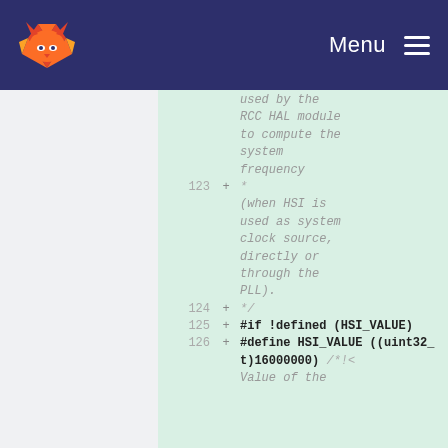Menu
used by the RCC HAL module to compute the system frequency
123 + *
* (when HSI is used as system clock source, directly or through the PLL).
124 + */
125 + #if !defined (HSI_VALUE)
126 + #define HSI_VALUE ((uint32_t)16000000) /*!< Value of the